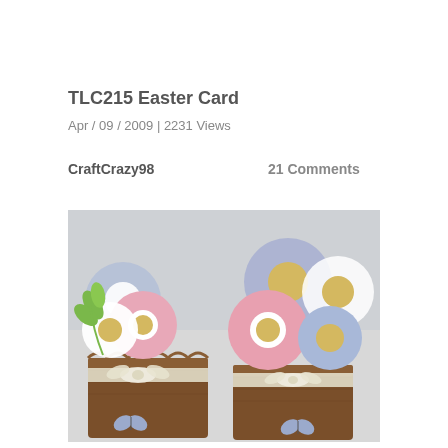TLC215 Easter Card
Apr / 09 / 2009 | 2231 Views
CraftCrazy98
21 Comments
[Figure (photo): Two handmade paper flower pot cards decorated with pink, blue, and white daisy-like paper flowers with yellow centers, green leaves, white satin ribbons tied around brown textured pots, and small blue butterfly cutouts on the front of each pot.]